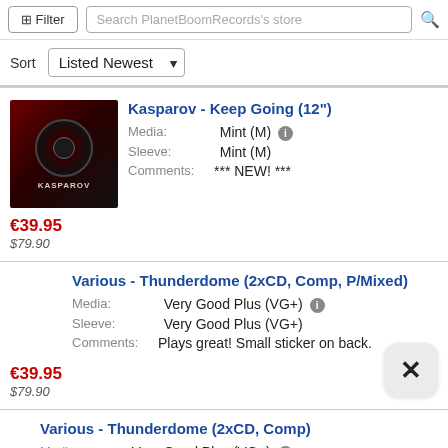Filter | Search PlanetBoomRecords's store
Sort: Listed Newest
Kasparov - Keep Going (12") | Media: Mint (M) | Sleeve: Mint (M) | Comments: *** NEW! *** | €39.95 / $79.90
Various - Thunderdome (2xCD, Comp, P/Mixed) | Media: Very Good Plus (VG+) | Sleeve: Very Good Plus (VG+) | Comments: Plays great! Small sticker on back. | €39.95 / $79.90
Various - Thunderdome (2xCD, Comp) | Media: Very Good Plus (VG+)